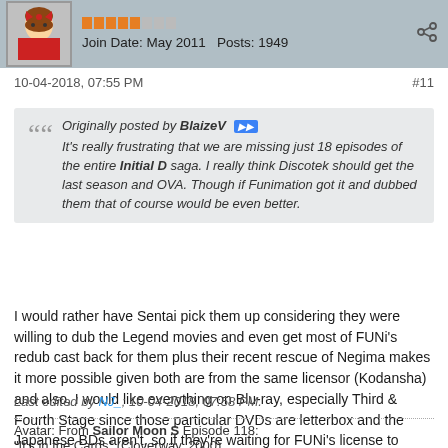Join Date: May 2011  Posts: 1949
10-04-2018, 07:55 PM  #11
Originally posted by BlaizeV
It's really frustrating that we are missing just 18 episodes of the entire Initial D saga. I really think Discotek should get the last season and OVA. Though if Funimation got it and dubbed them that of course would be even better.
I would rather have Sentai pick them up considering they were willing to dub the Legend movies and even get most of FUNi's redub cast back for them plus their recent rescue of Negima makes it more possible given both are from the same licensor (Kodansha) and also, I would like everything on Blu-ray, especially Third & Fourth Stage since those particular DVDs are letterbox and the Japanese BDs aren't, so if they're waiting for FUNi's license to expire to get everything then no problem.
Last edited by NJ_: 10-04-2018, 07:58 PM.
Avatar: From Sailor Moon S Episode 118:
"It's in the Cards" (Cloverway, 2000)
"Battle in a Demonic Dimension! The Sailor Soldiers! Bet"